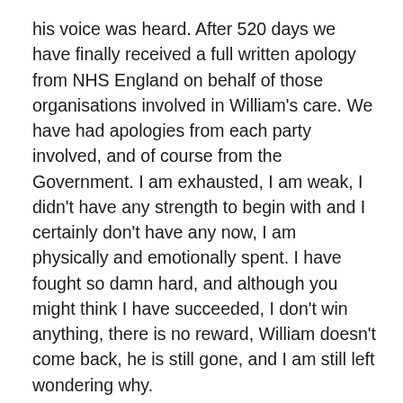his voice was heard. After 520 days we have finally received a full written apology from NHS England on behalf of those organisations involved in William's care. We have had apologies from each party involved, and of course from the Government. I am exhausted, I am weak, I didn't have any strength to begin with and I certainly don't have any now, I am physically and emotionally spent. I have fought so damn hard, and although you might think I have succeeded, I don't win anything, there is no reward, William doesn't come back, he is still gone, and I am still left wondering why.
“The RCA panel / team are indebted to William’s parents for their persistence in ensuring that all of the facts were understood and that lessons would be learnt, and for their understanding approach in the context of devastating circumstances for them. The courage of William’s parents